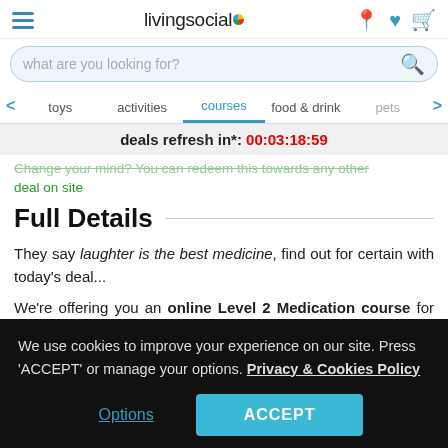livingsocial — header with hamburger menu, logo, and icons
what are you looking for?
toys  activities  courses  food & drink  pets
deals refresh in*: 00:03:18:59
Change your mind? You can redeem this towards any other deal on site
Full Details
They say laughter is the best medicine, find out for certain with today's deal...
We're offering you an online Level 2 Medication course for just €5, saving you 70% off Instant Upskill's price of €16.87 (converted
We use cookies to improve your experience on our site. Press 'ACCEPT' or manage your options. Privacy & Cookies Policy
Options   ACCEPT